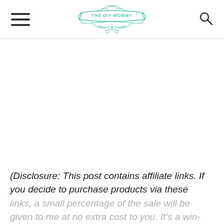THE DIY MOMMY
(Disclosure: This post contains affiliate links. If you decide to purchase products via these links, a small percentage of the sale will be given to me at no extra cost to you. It's a win-